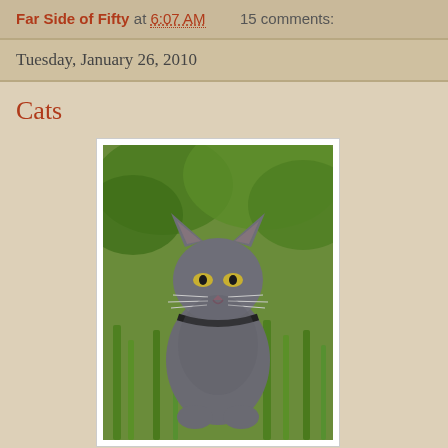Far Side of Fifty at 6:07 AM   15 comments:
Tuesday, January 26, 2010
Cats
[Figure (photo): A gray cat sitting in green grass and leafy vegetation, looking to the left with yellow-green eyes, wearing a dark collar.]